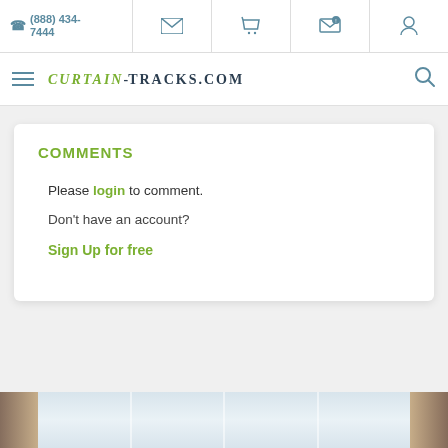(888) 434-7444
CURTAIN-TRACKS.COM
COMMENTS
Please login to comment.
Don't have an account?
Sign Up for free
[Figure (photo): Bottom portion of a room with bay windows and hanging curtains visible at the bottom of the page]